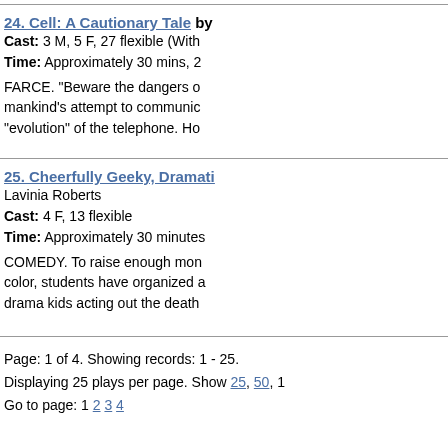24. Cell: A Cautionary Tale by ... Cast: 3 M, 5 F, 27 flexible (With... Time: Approximately 30 mins, 2... FARCE. "Beware the dangers o... mankind's attempt to communic... "evolution" of the telephone. Ho...
25. Cheerfully Geeky, Dramati... Lavinia Roberts Cast: 4 F, 13 flexible Time: Approximately 30 minutes COMEDY. To raise enough mon... color, students have organized a... drama kids acting out the death...
Page: 1 of 4. Showing records: 1 - 25. Displaying 25 plays per page. Show 25, 50, 1... Go to page: 1 2 3 4